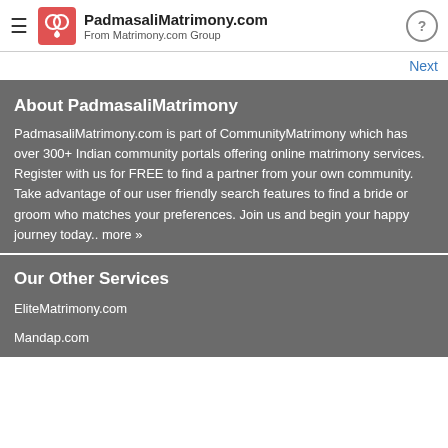PadmasaliMatrimony.com – From Matrimony.com Group
Next
About PadmasaliMatrimony
PadmasaliMatrimony.com is part of CommunityMatrimony which has over 300+ Indian community portals offering online matrimony services. Register with us for FREE to find a partner from your own community. Take advantage of our user friendly search features to find a bride or groom who matches your preferences. Join us and begin your happy journey today.. more »
Our Other Services
EliteMatrimony.com
Mandap.com